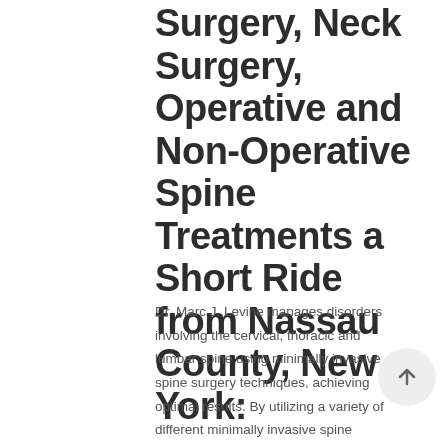Surgery, Neck Surgery, Operative and Non-Operative Spine Treatments a Short Ride from Nassau County, New York:
Dr. Marc J. Levine manages disorders involving the cervical, thoracic and lumbar spine using minimally invasive spine surgery techniques, achieving optimal results. By utilizing a variety of different minimally invasive spine surgery procedures, many patients return to activity